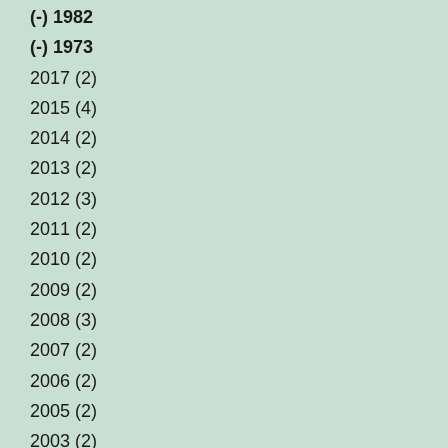(-) 1982
(-) 1973
2017 (2)
2015 (4)
2014 (2)
2013 (2)
2012 (3)
2011 (2)
2010 (2)
2009 (2)
2008 (3)
2007 (2)
2006 (2)
2005 (2)
2003 (2)
2002 (2)
2001 (2)
2000 (3)
1999 (2)